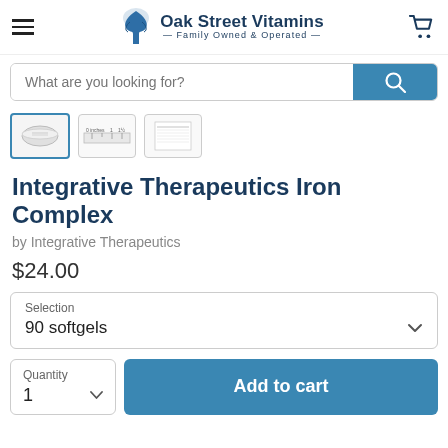Oak Street Vitamins — Family Owned & Operated
What are you looking for?
[Figure (screenshot): Three product thumbnail images: a container viewed from top, a ruler scale thumbnail, and a supplement facts label thumbnail]
Integrative Therapeutics Iron Complex
by Integrative Therapeutics
$24.00
Selection
90 softgels
Quantity
1
Add to cart